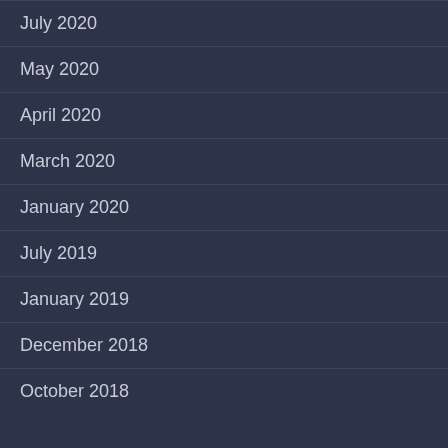July 2020
May 2020
April 2020
March 2020
January 2020
July 2019
January 2019
December 2018
October 2018
TAGS
2019 2020 Art Batman Batman: Arkham